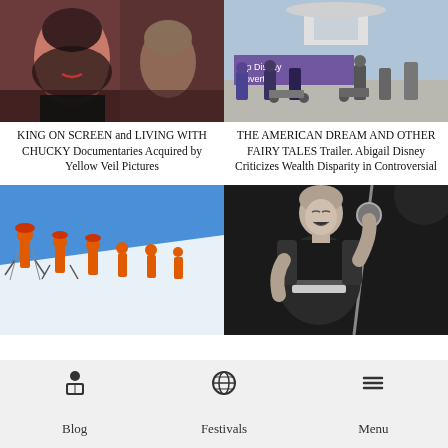[Figure (photo): Two women smiling, dimly lit room]
[Figure (photo): Protesters with 'Stop Disney Poverty' banner outside building]
KING ON SCREEN and LIVING WITH CHUCKY Documentaries Acquired by Yellow Veil Pictures
THE AMERICAN DREAM AND OTHER FAIRY TALES Trailer. Abigail Disney Criticizes Wealth Disparity in Controversial
[Figure (photo): Group of skiers in orange suits on snowy slope]
[Figure (photo): Black and white photo of a singer performing at microphone]
Blog
Festivals
Menu